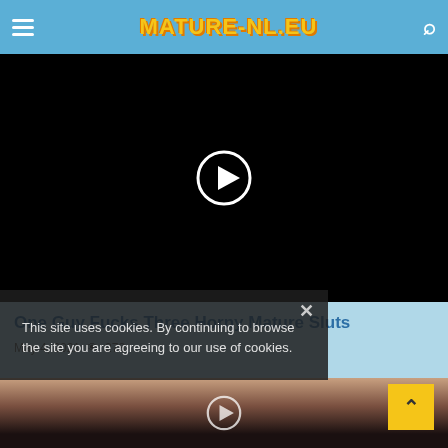MATURE-NL.EU
[Figure (screenshot): Black video player with white circular play button in center]
One Guy Fucks Three Horny Mature Sluts
May 4, 2021  👁 278
[Figure (photo): Thumbnail photo showing dark-haired person with play button overlay]
This site uses cookies. By continuing to browse the site you are agreeing to our use of cookies.